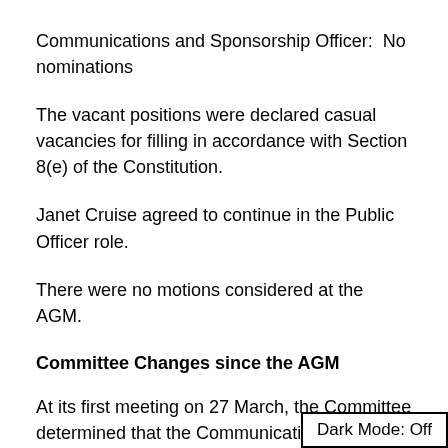Communications and Sponsorship Officer:  No nominations
The vacant positions were declared casual vacancies for filling in accordance with Section 8(e) of the Constitution.
Janet Cruise agreed to continue in the Public Officer role.
There were no motions considered at the AGM.
Committee Changes since the AGM
At its first meeting on 27 March, the Committee determined that the Communications and Sponsorship role should be split into two roles.  In accordance with Section 8(f)(v) of the Constitution, Tricia Bishop was appointed to the Sponsorship Officer role and the Publicity
Dark Mode: Off